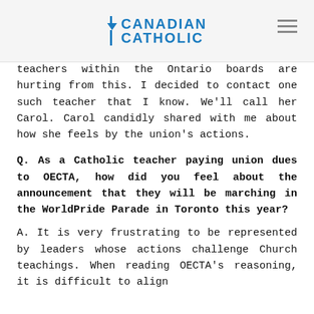CANADIAN CATHOLIC
teachers within the Ontario boards are hurting from this. I decided to contact one such teacher that I know. We'll call her Carol. Carol candidly shared with me about how she feels by the union's actions.
Q. As a Catholic teacher paying union dues to OECTA, how did you feel about the announcement that they will be marching in the WorldPride Parade in Toronto this year?
A. It is very frustrating to be represented by leaders whose actions challenge Church teachings. When reading OECTA's reasoning, it is difficult to align